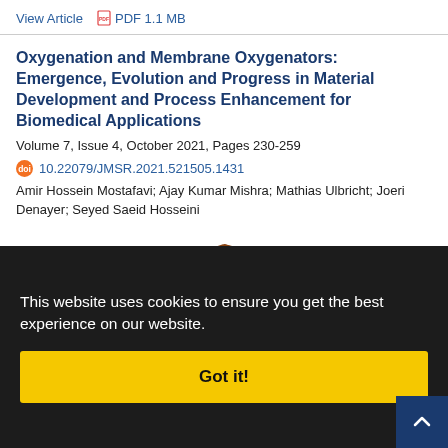View Article  PDF 1.1 MB
Oxygenation and Membrane Oxygenators: Emergence, Evolution and Progress in Material Development and Process Enhancement for Biomedical Applications
Volume 7, Issue 4, October 2021, Pages 230-259
10.22079/JMSR.2021.521505.1431
Amir Hossein Mostafavi; Ajay Kumar Mishra; Mathias Ulbricht; Joeri Denayer; Seyed Saeid Hosseini
[Figure (flowchart): Partial flowchart diagram showing green oval nodes with labels: No Bubbling, No Blood Trauma, No Plasma Leakage, Low Platelet, Blood Layer, High Gas Exchange Rate, Proper Material Selection. Connected by brown curved lines.]
This website uses cookies to ensure you get the best experience on our website.
Got it!
View Article  PDF 2.25 MB